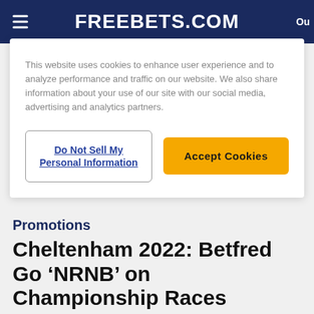FREEBETS.COM
This website uses cookies to enhance user experience and to analyze performance and traffic on our website. We also share information about your use of our site with our social media, advertising and analytics partners.
Do Not Sell My Personal Information
Accept Cookies
Promotions
Cheltenham 2022: Betfred Go ‘NRNB’ on Championship Races